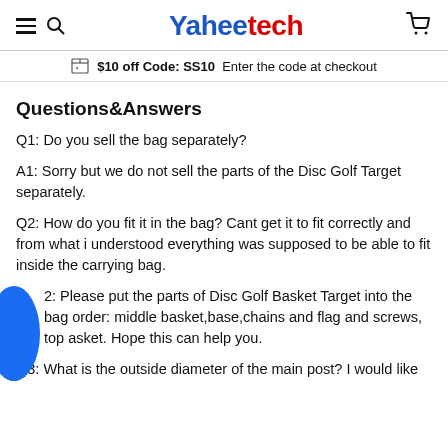Yaheetech [hamburger, search, cart icons]
$10 off Code: SS10  Enter the code at checkout
Questions&Answers
Q1: Do you sell the bag separately?
A1: Sorry but we do not sell the parts of the Disc Golf Target separately.
Q2: How do you fit it in the bag? Cant get it to fit correctly and from what i understood everything was supposed to be able to fit inside the carrying bag.
2: Please put the parts of Disc Golf Basket Target into the bag order: middle basket,base,chains and flag and screws, top asket. Hope this can help you.
Q3: What is the outside diameter of the main post? I would like